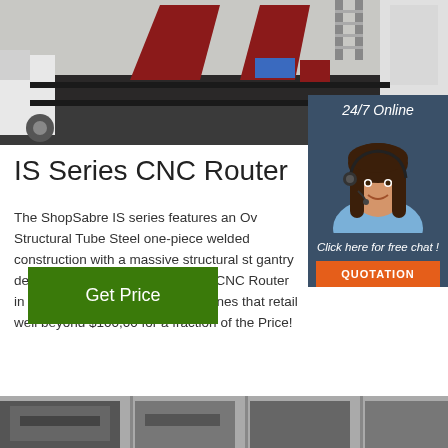[Figure (photo): CNC router machine in an industrial workshop setting with red triangular components and white cabinet]
[Figure (photo): Customer service representative with headset smiling, with 24/7 Online chat widget overlay including QUOTATION button]
IS Series CNC Router
The ShopSabre IS series features an Ov Structural Tube Steel one-piece welded construction with a massive structural st gantry design. The IS Series is the most CNC Router in the price range competin machines that retail well beyond $100,00 for a fraction of the Price!
Get Price
[Figure (photo): Partial image at bottom of page showing machinery]